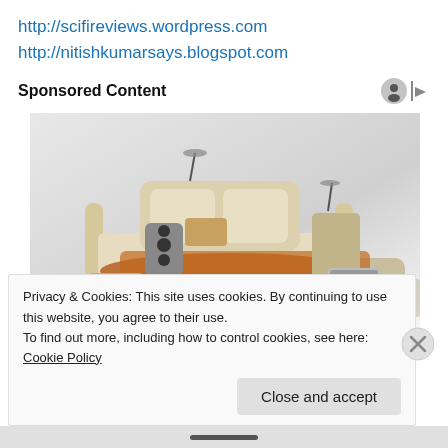http://scifireviews.wordpress.com
http://nitishkumarsays.blogspot.com
Sponsored Content
[Figure (photo): A modern multifunctional bed with speakers, massage chairs, storage compartments, and a laptop stand]
Privacy & Cookies: This site uses cookies. By continuing to use this website, you agree to their use.
To find out more, including how to control cookies, see here: Cookie Policy